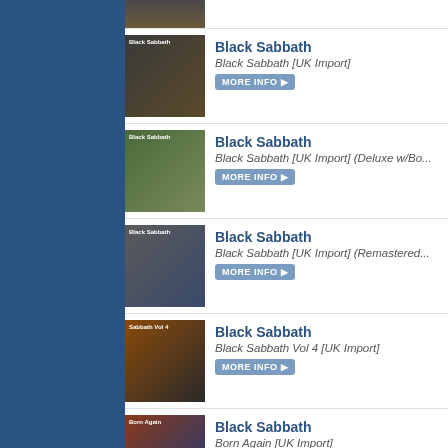[Figure (other): Dark blue sidebar navigation panel]
Black Sabbath - Black Sabbath [UK Import]
Black Sabbath - Black Sabbath [UK Import] (Deluxe w/Bo...
Black Sabbath - Black Sabbath [UK Import] (Remastered...)
Black Sabbath - Black Sabbath Vol 4 [UK Import]
Black Sabbath - Born Again [UK Import]
Black Sabbath - Classic Albums: Paranoid (Widescreen...)